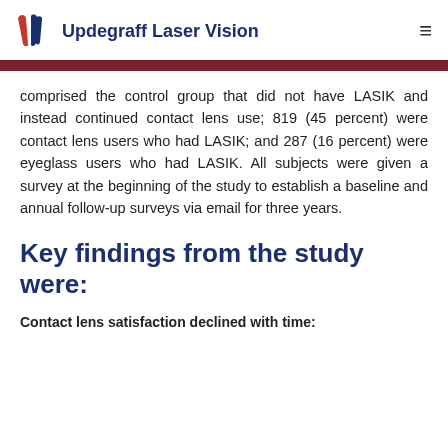Updegraff Laser Vision
comprised the control group that did not have LASIK and instead continued contact lens use; 819 (45 percent) were contact lens users who had LASIK; and 287 (16 percent) were eyeglass users who had LASIK. All subjects were given a survey at the beginning of the study to establish a baseline and annual follow-up surveys via email for three years.
Key findings from the study were:
Contact lens satisfaction declined with time: